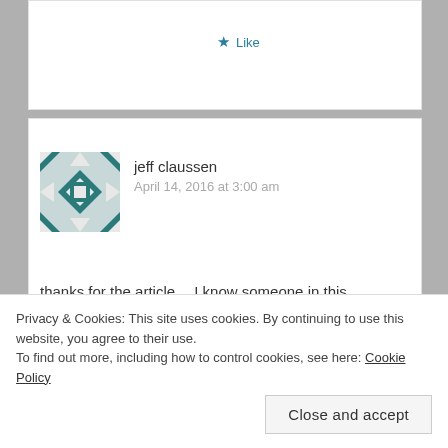★ Like
[Figure (illustration): User avatar for jeff claussen — decorative geometric quilt-pattern avatar in teal/white]
jeff claussen
April 14, 2016 at 3:00 am
thanks for the article… I know someone in this situation and he feels utterly hopeless … I got some inspiration from this article thank you
Privacy & Cookies: This site uses cookies. By continuing to use this website, you agree to their use.
To find out more, including how to control cookies, see here: Cookie Policy
Close and accept